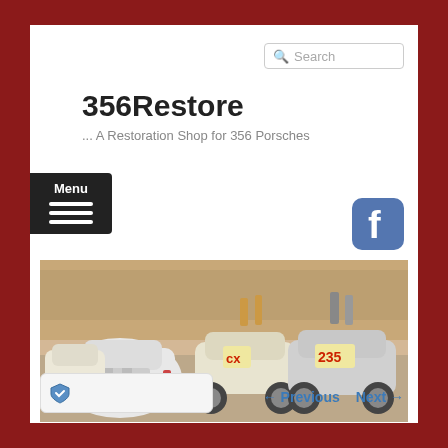Search
356Restore
... A Restoration Shop for 356 Porsches
Menu
[Figure (logo): Facebook logo icon - blue rounded square with white f]
[Figure (photo): Multiple vintage Porsche 356 cars parked outdoors, including cars numbered 235 and others, silver/cream colored classic racing cars]
← Previous   Next →